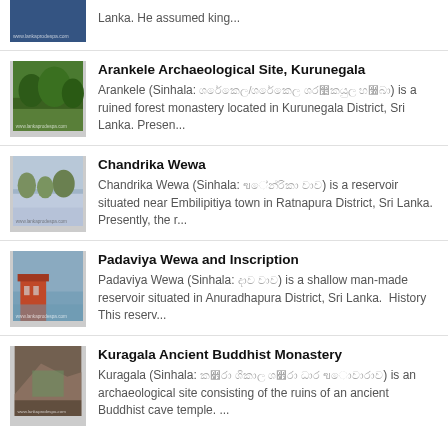[partial entry] Lanka. He assumed king...
Arankele Archaeological Site, Kurunegala — Arankele (Sinhala: [sinhala text]) is a ruined forest monastery located in Kurunegala District, Sri Lanka. Presen...
Chandrika Wewa — Chandrika Wewa (Sinhala: [sinhala text]) is a reservoir situated near Embilipitiya town in Ratnapura District, Sri Lanka. Presently, the r...
Padaviya Wewa and Inscription — Padaviya Wewa (Sinhala: [sinhala text]) is a shallow man-made reservoir situated in Anuradhapura District, Sri Lanka. History This reserv...
Kuragala Ancient Buddhist Monastery — Kuragala (Sinhala: [sinhala text]) is an archaeological site consisting of the ruins of an ancient Buddhist cave temple. ...